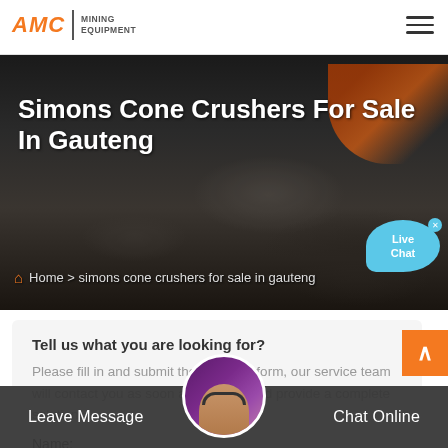AMC | MINING EQUIPMENT
[Figure (screenshot): Dark hero banner with rocky/mining background and orange machinery visible top-right]
Simons Cone Crushers For Sale In Gauteng
Home > simons cone crushers for sale in gauteng
Tell us what you are looking for?
Please fill in and submit the following form, our service team will contact you as soon as possible and provide a complete solution.
Name:
Leave Message   Chat Online